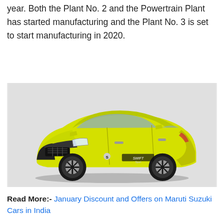year. Both the Plant No. 2 and the Powertrain Plant has started manufacturing and the Plant No. 3 is set to start manufacturing in 2020.
[Figure (photo): Yellow Suzuki Swift Sport car on a light grey background, front three-quarter view showing the sporty yellow exterior with black accents and alloy wheels.]
Read More:- January Discount and Offers on Maruti Suzuki Cars in India
Key points of Maruti Suzuki
Maruti Suzuki is the Japanese brand and the Suzuki Motor Corporation manufactures the vehicles in India.